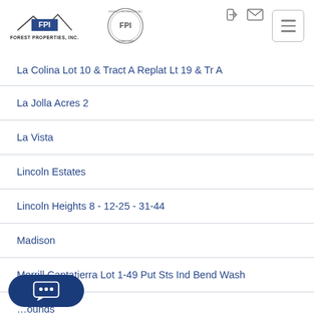[Figure (logo): FPI Forest Properties Inc. text logo with roof/mountain graphic]
[Figure (logo): FPI circular seal logo]
La Colina Lot 10 & Tract A Replat Lt 19 & Tr A
La Jolla Acres 2
La Vista
Lincoln Estates
Lincoln Heights 8 - 12-25 - 31-44
Madison
Merrill Cantatierra Lot 1-49 Put Sts Ind Bend Wash
...ounds